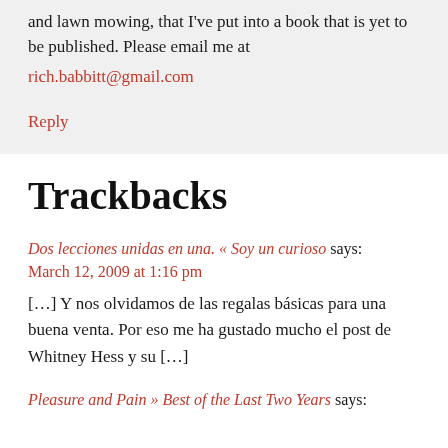and lawn mowing, that I've put into a book that is yet to be published. Please email me at
rich.babbitt@gmail.com
Reply
Trackbacks
Dos lecciones unidas en una. « Soy un curioso says:
March 12, 2009 at 1:16 pm
[…] Y nos olvidamos de las regalas básicas para una buena venta. Por eso me ha gustado mucho el post de Whitney Hess y su […]
Pleasure and Pain » Best of the Last Two Years says: